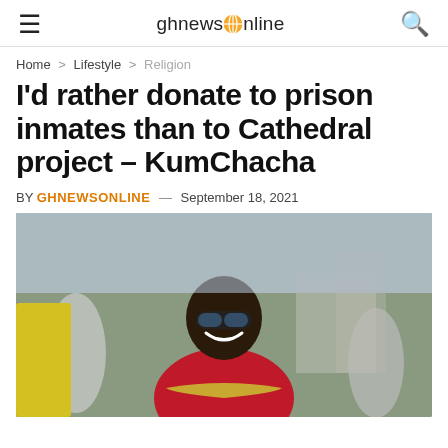ghnewsonline
Home > Lifestyle > Religion
I'd rather donate to prison inmates than to Cathedral project – KumChacha
BY GHNEWSONLINE — September 18, 2021
[Figure (photo): KumChacha smiling broadly, wearing red outfit with gold trim and reflective sunglasses, outdoors with people in the background]